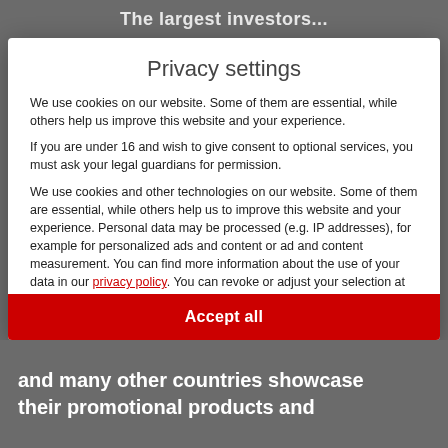The largest investors...
Privacy settings
We use cookies on our website. Some of them are essential, while others help us improve this website and your experience.
If you are under 16 and wish to give consent to optional services, you must ask your legal guardians for permission.
We use cookies and other technologies on our website. Some of them are essential, while others help us to improve this website and your experience. Personal data may be processed (e.g. IP addresses), for example for personalized ads and content or ad and content measurement. You can find more information about the use of your data in our privacy policy. You can revoke or adjust your selection at any time under Settings.
Essential
Marketing
External Media
and many other countries showcase their promotional products and